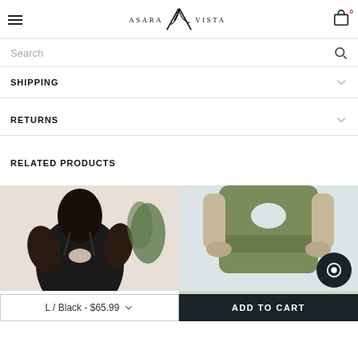Asara Vista — navigation header with hamburger menu, logo, and cart icon (0 items)
Search
SHIPPING
RETURNS
RELATED PRODUCTS
[Figure (photo): Product photo: person wearing black activewear top, posing indoors near a plant]
L / Black - $65.99
[Figure (photo): Product photo: person wearing olive green high-waist activewear bottoms, back view]
ADD TO CART